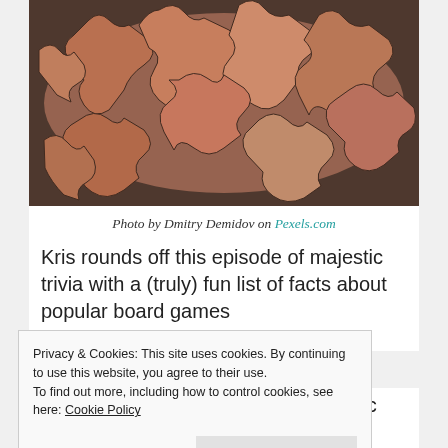[Figure (photo): A pile of wooden jigsaw puzzle pieces scattered randomly, photographed from above in warm brown and orange tones against a dark background.]
Photo by Dmitry Demidov on Pexels.com
Kris rounds off this episode of majestic trivia with a (truly) fun list of facts about popular board games
Privacy & Cookies: This site uses cookies. By continuing to use this website, you agree to their use. To find out more, including how to control cookies, see here: Cookie Policy
Close and accept
Ladders were actually to teach karmic lessons? Yep, your